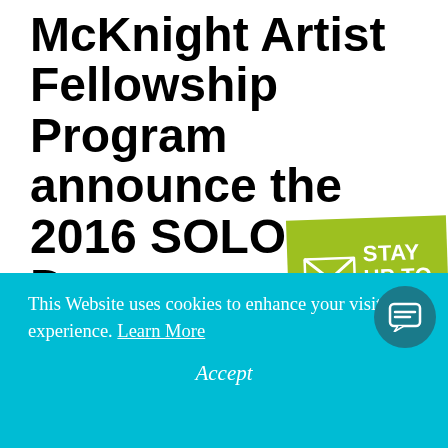McKnight Artist Fellowship Program announce the 2016 SOLO Dancers and Choreographe
[Figure (infographic): Green badge/banner with envelope icon and text STAY UP TO DATE]
SOLO will be presented at The Cowles Center on September 23 and 24 and will feature world
This Website uses cookies to enhance your visitor experience. Learn More
Accept